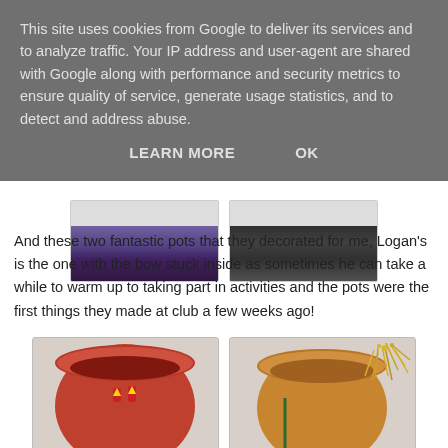This site uses cookies from Google to deliver its services and to analyze traffic. Your IP address and user-agent are shared with Google along with performance and security metrics to ensure quality of service, generate usage statistics, and to detect and address abuse.
LEARN MORE    OK
[Figure (photo): Two small thumbnail photos showing decorated pots or crafts]
And these two fantastic pots that they decorated for me, Logan's is the one with the bow stuck inside as sometimes he can take a while to warm up to taking part in activities and the pots were the first things they made at club a few weeks ago!
[Figure (photo): Two photos of decorated clay pots — left pot is red/orange inside with small figurines, right pot is tan/orange with gold tinsel decoration]